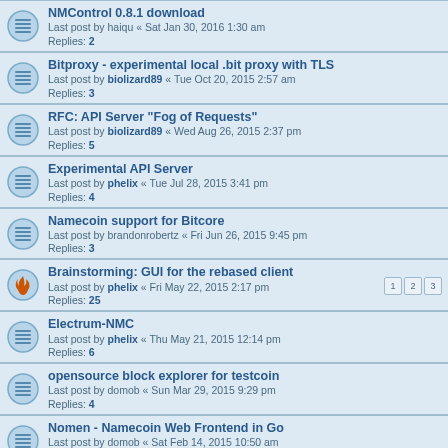NMControl 0.8.1 download
Last post by haiqu « Sat Jan 30, 2016 1:30 am
Replies: 2
Bitproxy - experimental local .bit proxy with TLS
Last post by biolizard89 « Tue Oct 20, 2015 2:57 am
Replies: 3
RFC: API Server "Fog of Requests"
Last post by biolizard89 « Wed Aug 26, 2015 2:37 pm
Replies: 5
Experimental API Server
Last post by phelix « Tue Jul 28, 2015 3:41 pm
Replies: 4
Namecoin support for Bitcore
Last post by brandonrobertz « Fri Jun 26, 2015 9:45 pm
Replies: 3
Brainstorming: GUI for the rebased client
Last post by phelix « Fri May 22, 2015 2:17 pm
Replies: 25
Electrum-NMC
Last post by phelix « Thu May 21, 2015 12:14 pm
Replies: 6
opensource block explorer for testcoin
Last post by domob « Sun Mar 29, 2015 9:29 pm
Replies: 4
Nomen - Namecoin Web Frontend in Go
Last post by domob « Sat Feb 14, 2015 10:50 am
Replies: 1